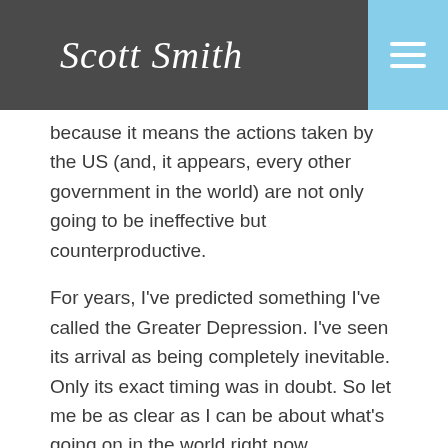Scott Smith
because it means the actions taken by the US (and, it appears, every other government in the world) are not only going to be ineffective but counterproductive.
For years, I've predicted something I've called the Greater Depression. I've seen its arrival as being completely inevitable. Only its exact timing was in doubt. So let me be as clear as I can be about what's going on in the world right now.
I believe this is it.